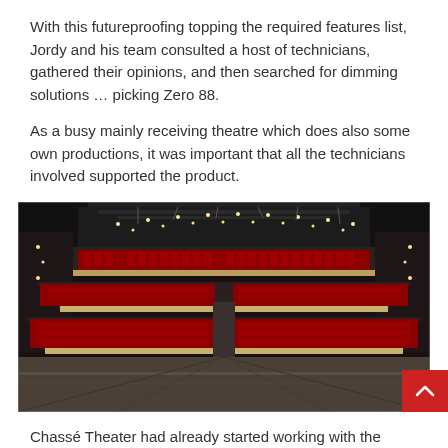With this futureproofing topping the required features list, Jordy and his team consulted a host of technicians, gathered their opinions, and then searched for dimming solutions … picking Zero 88.
As a busy mainly receiving theatre which does also some own productions, it was important that all the technicians involved supported the product.
[Figure (photo): Interior of Chassé Theater auditorium viewed from the stage, showing multiple tiers of red seats, wooden balcony fronts, and theatrical lighting rigs overhead.]
Chassé Theater had already started working with the same Zero 88 Chilli Pro Bypass dimmers in 2017, which